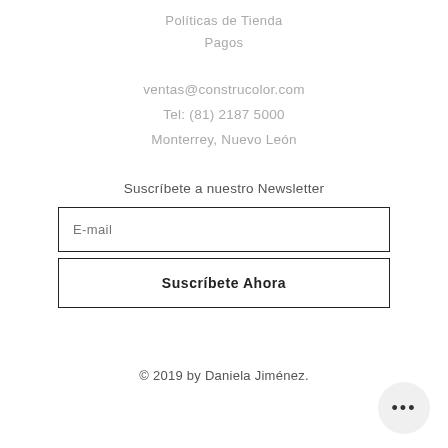Políticas de Tienda
Pagos
ventas@construcolor.com
Tel: (81) 2187 5000
Monterrey, Nuevo León
Suscríbete a nuestro Newsletter
E-mail
Suscríbete Ahora
© 2019 by Daniela Jiménez.